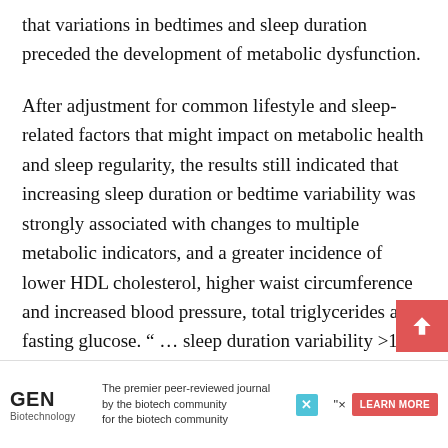that variations in bedtimes and sleep duration preceded the development of metabolic dysfunction.
After adjustment for common lifestyle and sleep-related factors that might impact on metabolic health and sleep regularity, the results still indicated that increasing sleep duration or bedtime variability was strongly associated with changes to multiple metabolic indicators, and a greater incidence of lower HDL cholesterol, higher waist circumference and increased blood pressure, total triglycerides and fasting glucose. “ … sleep duration variability >120 minutes and sleep timing variation >90 minutes were cons… ” … the a…
[Figure (other): GEN Biotechnology advertisement banner: 'The premier peer-reviewed journal by the biotech community for the biotech community' with LEARN MORE button]
[Figure (other): Scroll-to-top button (red background with upward chevron arrow)]